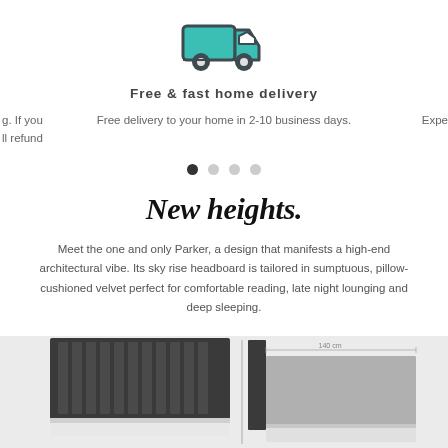[Figure (illustration): Teal/turquoise delivery truck icon with dark outline]
Free & fast home delivery
g. If you ll refund
Free delivery to your home in 2-10 business days.
Expe
[Figure (other): Carousel navigation dots - 4 dots, first one filled dark, others light gray]
New heights.
Meet the one and only Parker, a design that manifests a high-end architectural vibe. Its sky rise headboard is tailored in sumptuous, pillow-cushioned velvet perfect for comfortable reading, late night lounging and deep sleeping.
[Figure (photo): Two bed headboard images side by side on light gray background. Left: dark charcoal upholstered bed with vertical channel tufting headboard. Right: light gray/white bed frame partial view with dimension label showing 140 cm.]